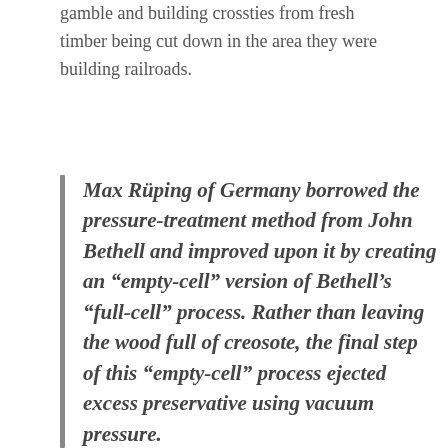gamble and building crossties from fresh timber being cut down in the area they were building railroads.
Max Rüping of Germany borrowed the pressure-treatment method from John Bethell and improved upon it by creating an “empty-cell” version of Bethell’s “full-cell” process. Rather than leaving the wood full of creosote, the final step of this “empty-cell” process ejected excess preservative using vacuum pressure.